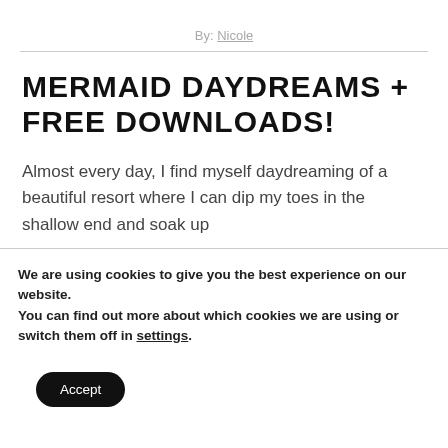By: Nicole
MERMAID DAYDREAMS + FREE DOWNLOADS!
Almost every day, I find myself daydreaming of a beautiful resort where I can dip my toes in the shallow end and soak up
We are using cookies to give you the best experience on our website.
You can find out more about which cookies we are using or switch them off in settings.
Accept